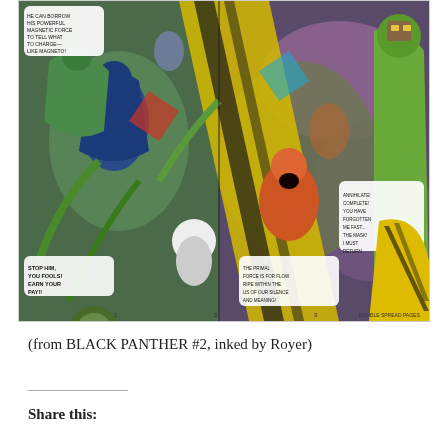[Figure (illustration): A double-page spread from a comic book (Black Panther #2, inked by Royer) showing a chaotic battle scene with multiple superhero and villain characters in bright colors including yellow, green, blue, and purple. Speech bubbles visible with text including 'STOP HIM, YOU FOOLS! EARN YOUR PAY!!' and other dialog. Characters are fighting in a dynamic splash page layout.]
(from BLACK PANTHER #2, inked by Royer)
Share this: